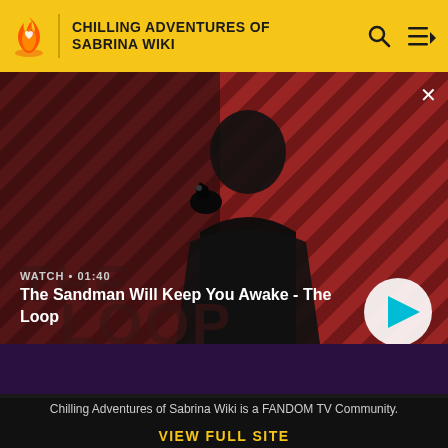CHILLING ADVENTURES OF SABRINA WIKI
[Figure (screenshot): Video thumbnail showing a dark figure with a raven on shoulder against a red and dark diagonal striped background with 'THE LOOP' text. Overlaid with WATCH • 01:40 label and video title. A play button circle is visible bottom right.]
The Sandman Will Keep You Awake - The Loop
Chilling Adventures of Sabrina Wiki is a FANDOM TV Community.
VIEW FULL SITE